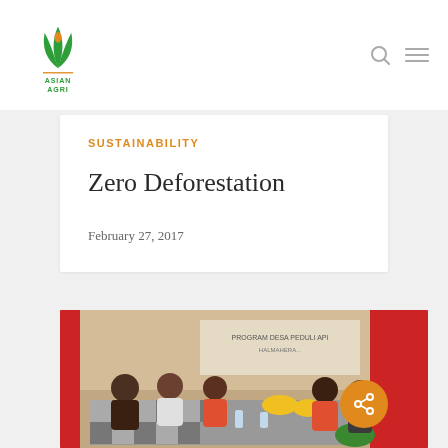[Figure (logo): Asian Agri logo — green leaf/plant icon with orange flame droplet, text ASIAN AGRI below]
Search and menu navigation icons
SUSTAINABILITY
Zero Deforestation
February 27, 2017
[Figure (photo): Group meeting photo showing people seated around a table in a room with red walls and yellow hard hats on the table. A banner in the background reads program-related text.]